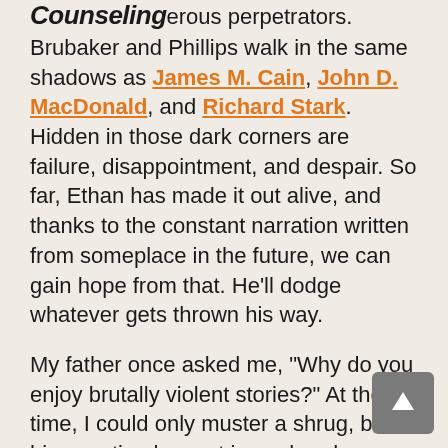Counseling
…erous perpetrators. Brubaker and Phillips walk in the same shadows as James M. Cain, John D. MacDonald, and Richard Stark. Hidden in those dark corners are failure, disappointment, and despair. So far, Ethan has made it out alive, and thanks to the constant narration written from someplace in the future, we can gain hope from that. He'll dodge whatever gets thrown his way.

My father once asked me, "Why do you enjoy brutally violent stories?" At the time, I could only muster a shrug, but his question has sat in my head ever since. I can't deny an appetite for extremity. I like my comics stuffed with grim, punishing action and grotesque